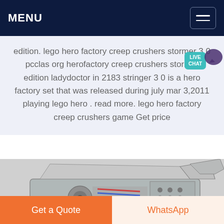MENU
edition. lego hero factory creep crushers stormer 3 0 pcclas org herofactory creep crushers stormer edition ladydoctor in 2183 stringer 3 0 is a hero factory set that was released during july mar 3,2011 playing lego hero . read more. lego hero factory creep crushers game Get price
[Figure (photo): Industrial vibrating screen or crusher machine, metallic, photographed from an angle, partially visible]
Get a Quote
WhatsApp